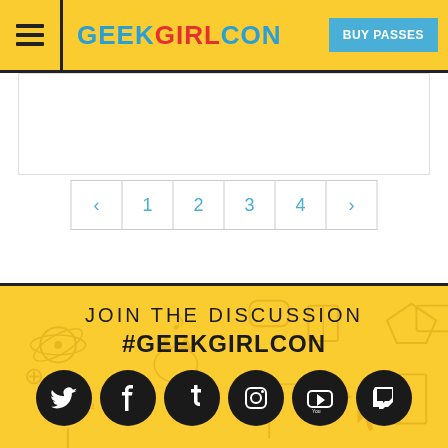GEEKGIRLCON - BUY PASSES
[Figure (screenshot): Pagination navigation with previous arrow, pages 1 2 3 4, and next arrow]
JOIN THE DISCUSSION
#GEEKGIRLCON
[Figure (infographic): Social media icons: Twitter, Facebook, Tumblr, Instagram, YouTube, Twitch]